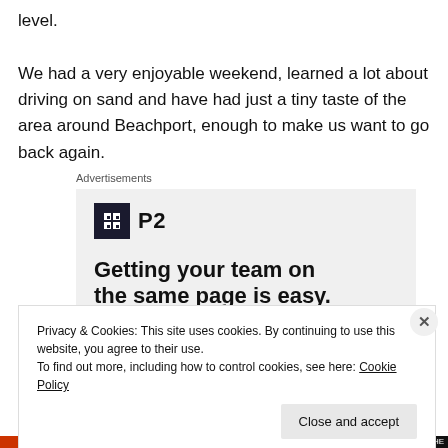level.

We had a very enjoyable weekend, learned a lot about driving on sand and have had just a tiny taste of the area around Beachport, enough to make us want to go back again.
Advertisements
[Figure (other): Advertisement for P2 product showing logo and headline 'Getting your team on the same page is easy.']
Privacy & Cookies: This site uses cookies. By continuing to use this website, you agree to their use.
To find out more, including how to control cookies, see here: Cookie Policy
Close and accept